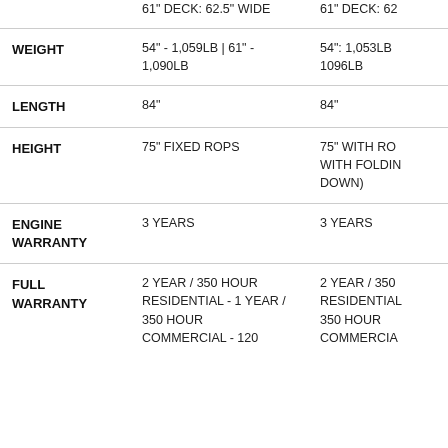|  | Column 1 | Column 2 |
| --- | --- | --- |
| WIDTH (cont.) | 61" DECK: 62.5" WIDE | 61" DECK: 62 |
| WEIGHT | 54" - 1,059LB | 61" - 1,090LB | 54": 1,053LB
1096LB |
| LENGTH | 84" | 84" |
| HEIGHT | 75" FIXED ROPS | 75" WITH RO
WITH FOLDIN
DOWN) |
| ENGINE WARRANTY | 3 YEARS | 3 YEARS |
| FULL WARRANTY | 2 YEAR / 350 HOUR
RESIDENTIAL - 1 YEAR /
350 HOUR
COMMERCIAL - 120 | 2 YEAR / 350
RESIDENTIAL
350 HOUR
COMMERCIA |